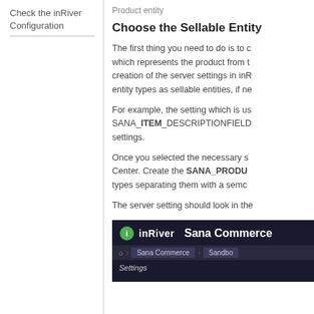Check the inRiver Configuration
Product entity
Choose the Sellable Entity
The first thing you need to do is to choose which represents the product from the creation of the server settings in inR... entity types as sellable entities, if ne...
For example, the setting which is us... SANA_ITEM_DESCRIPTIONFIELD... settings.
Once you selected the necessary s... Center. Create the SANA_PRODU... types separating them with a semic...
The server setting should look in th...
[Figure (screenshot): Screenshot of inRiver Sana Commerce plugin settings interface showing navigation breadcrumb with Home, Sana Commerce, Sandbox items and Settings section label]